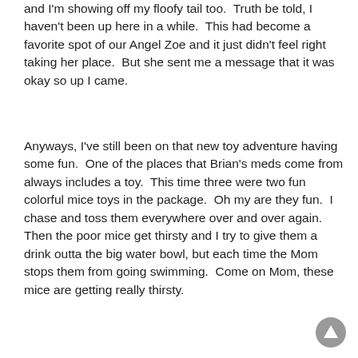and I'm showing off my floofy tail too.  Truth be told, I haven't been up here in a while.  This had become a favorite spot of our Angel Zoe and it just didn't feel right taking her place.  But she sent me a message that it was okay so up I came.
Anyways, I've still been on that new toy adventure having some fun.  One of the places that Brian's meds come from always includes a toy.  This time three were two fun colorful mice toys in the package.  Oh my are they fun.  I chase and toss them everywhere over and over again.  Then the poor mice get thirsty and I try to give them a drink outta the big water bowl, but each time the Mom stops them from going swimming.  Come on Mom, these mice are getting really thirsty.